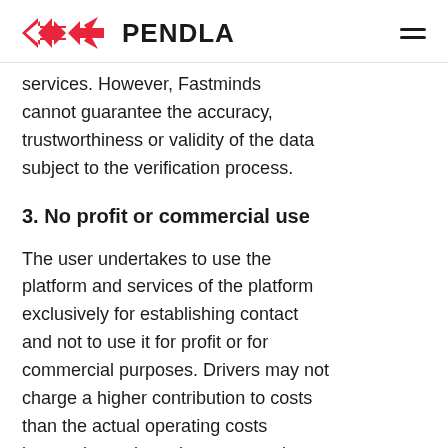PENDLA
services. However, Fastminds cannot guarantee the accuracy, trustworthiness or validity of the data subject to the verification process.
3. No profit or commercial use
The user undertakes to use the platform and services of the platform exclusively for establishing contact and not to use it for profit or for commercial purposes. Drivers may not charge a higher contribution to costs than the actual operating costs incurred per trip and may not make a